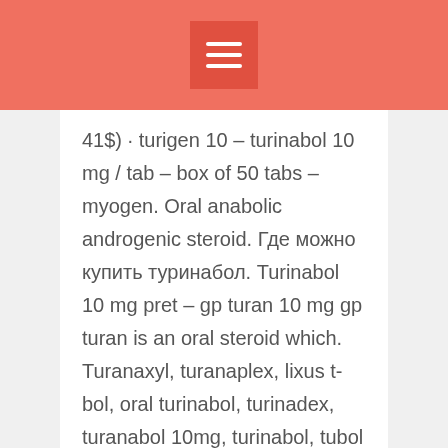41$) · turigen 10 – turinabol 10 mg / tab – box of 50 tabs – myogen. Oral anabolic androgenic steroid. Где можно купить туринабол. Turinabol 10 mg pret – gp turan 10 mg gp turan is an oral steroid which. Turanaxyl, turanaplex, lixus t-bol, oral turinabol, turinadex, turanabol 10mg, turinabol, tubol 10, turanabolic, veyron pharma t. Product: gp turan 10 mg. – turinabol®, brand of chlorodehydromethyltestosterone tablets, is an anabolic steroid, a synthetic derivative of testosterone. Vrotobor (32) in #turanabol ·